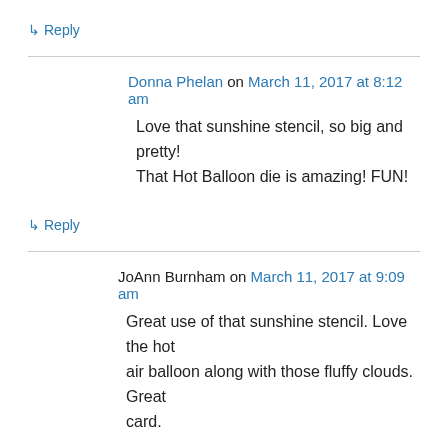↳ Reply
Donna Phelan on March 11, 2017 at 8:12 am
Love that sunshine stencil, so big and pretty! That Hot Balloon die is amazing! FUN!
↳ Reply
JoAnn Burnham on March 11, 2017 at 9:09 am
Great use of that sunshine stencil. Love the hot air balloon along with those fluffy clouds. Great card.
↳ Reply